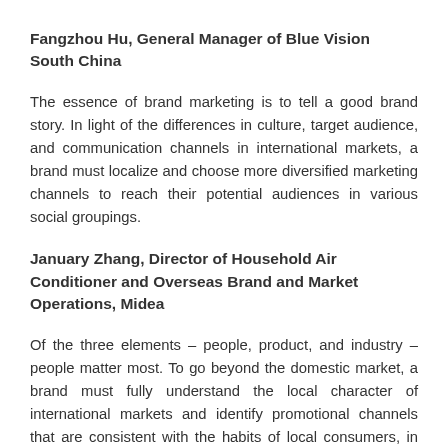Fangzhou Hu, General Manager of Blue Vision South China
The essence of brand marketing is to tell a good brand story. In light of the differences in culture, target audience, and communication channels in international markets, a brand must localize and choose more diversified marketing channels to reach their potential audiences in various social groupings.
January Zhang, Director of Household Air Conditioner and Overseas Brand and Market Operations, Midea
Of the three elements – people, product, and industry – people matter most. To go beyond the domestic market, a brand must fully understand the local character of international markets and identify promotional channels that are consistent with the habits of local consumers, in order to transfer the value of its products and services to the end consumers.